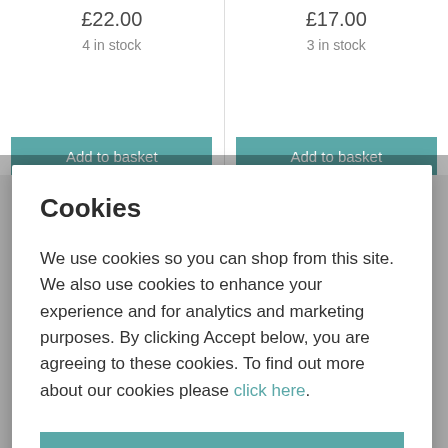£22.00
4 in stock
Add to basket
£17.00
3 in stock
Add to basket
Cookies
We use cookies so you can shop from this site. We also use cookies to enhance your experience and for analytics and marketing purposes. By clicking Accept below, you are agreeing to these cookies. To find out more about our cookies please click here.
Accept
Decline